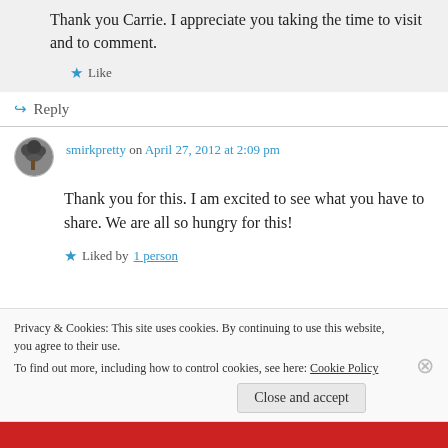Thank you Carrie. I appreciate you taking the time to visit and to comment.
Like
Reply
smirkpretty on April 27, 2012 at 2:09 pm
Thank you for this. I am excited to see what you have to share. We are all so hungry for this!
Liked by 1 person
Privacy & Cookies: This site uses cookies. By continuing to use this website, you agree to their use.
To find out more, including how to control cookies, see here: Cookie Policy
Close and accept